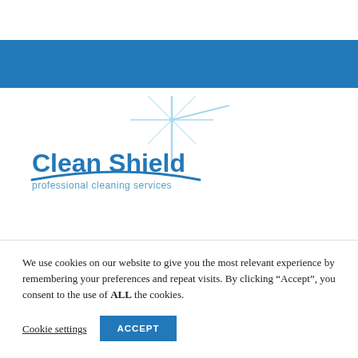[Figure (logo): Clean Shield professional cleaning services logo with dark blue text and a light blue star/sparkle graphic element above, and a curved arc beneath the text.]
We use cookies on our website to give you the most relevant experience by remembering your preferences and repeat visits. By clicking “Accept”, you consent to the use of ALL the cookies.
Cookie settings
ACCEPT